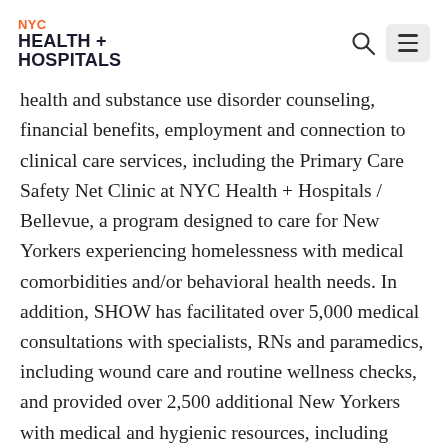NYC HEALTH + HOSPITALS
health and substance use disorder counseling, financial benefits, employment and connection to clinical care services, including the Primary Care Safety Net Clinic at NYC Health + Hospitals / Bellevue, a program designed to care for New Yorkers experiencing homelessness with medical comorbidities and/or behavioral health needs. In addition, SHOW has facilitated over 5,000 medical consultations with specialists, RNs and paramedics, including wound care and routine wellness checks, and provided over 2,500 additional New Yorkers with medical and hygienic resources, including Hepatitis A vaccinations,